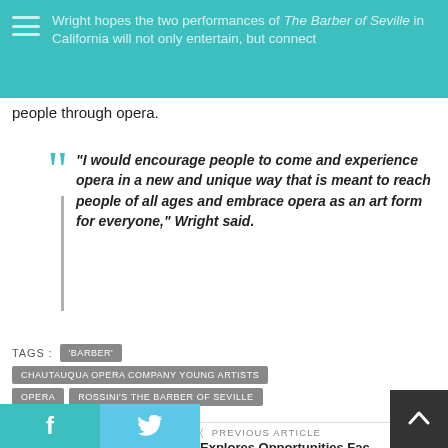Wright hopes the two performances of The Barber of Seville in California will not only entertain, but connect people through opera.
people through opera.
“I would encourage people to come and experience opera in a new and unique way that is meant to reach people of all ages and embrace opera as an art form for everyone,” Wright said.
TAGS: 'BARBER'  CHAUTAUQUA OPERA COMPANY YOUNG ARTISTS  OPERA  ROSSINI'S THE BARBER OF SEVILLE  THE ARTS
< PREVIOUS ARTICLE  Explores Opportunities Fac…